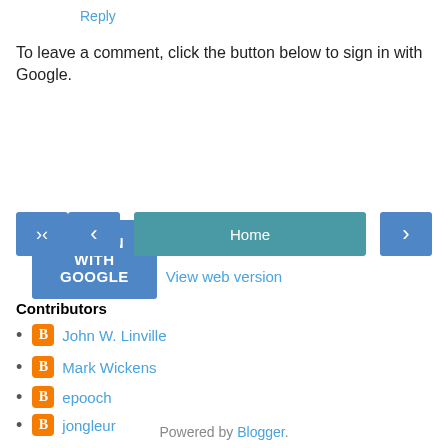Reply
To leave a comment, click the button below to sign in with Google.
[Figure (other): SIGN IN WITH GOOGLE button]
[Figure (other): Navigation bar with left arrow, Home, and right arrow buttons]
View web version
Contributors
John W. Linville
Mark Wickens
epooch
jongleur
Powered by Blogger.